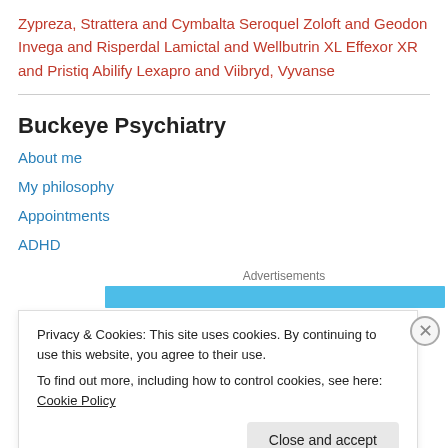Zypreza, Strattera and Cymbalta Seroquel Zoloft and Geodon Invega and Risperdal Lamictal and Wellbutrin XL Effexor XR and Pristiq Abilify Lexapro and Viibryd, Vyvanse
Buckeye Psychiatry
About me
My philosophy
Appointments
ADHD
Advertisements
Privacy & Cookies: This site uses cookies. By continuing to use this website, you agree to their use.
To find out more, including how to control cookies, see here: Cookie Policy